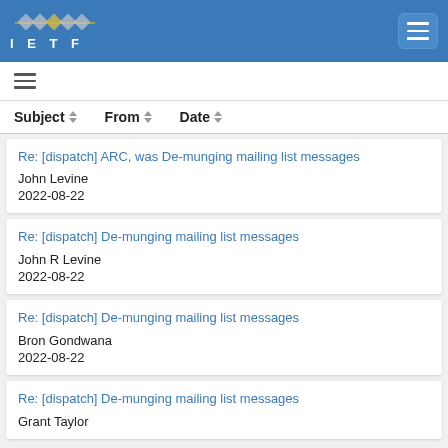IETF
Re: [dispatch] ARC, was De-munging mailing list messages | John Levine | 2022-08-22
Re: [dispatch] De-munging mailing list messages | John R Levine | 2022-08-22
Re: [dispatch] De-munging mailing list messages | Bron Gondwana | 2022-08-22
Re: [dispatch] De-munging mailing list messages | Grant Taylor